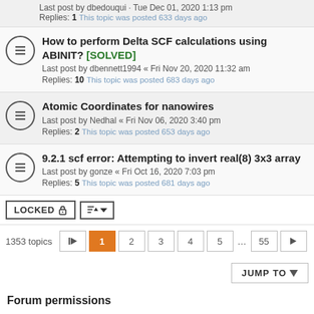Last post by dbedouqui · Tue Dec 01, 2020 1:13 pm
Replies: 1  This topic was posted 633 days ago
How to perform Delta SCF calculations using ABINIT? [SOLVED]
Last post by dbennett1994 « Fri Nov 20, 2020 11:32 am
Replies: 10  This topic was posted 683 days ago
Atomic Coordinates for nanowires
Last post by Nedhal « Fri Nov 06, 2020 3:40 pm
Replies: 2  This topic was posted 653 days ago
9.2.1 scf error: Attempting to invert real(8) 3x3 array
Last post by gonze « Fri Oct 16, 2020 7:03 pm
Replies: 5  This topic was posted 681 days ago
LOCKED  sort  1353 topics  1 2 3 4 5 ... 55  JUMP TO
Forum permissions
You cannot post new topics in this forum